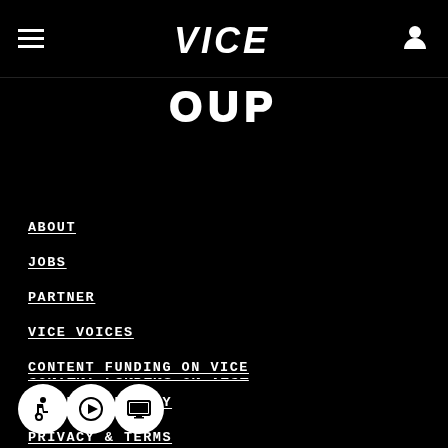VICE navigation header with hamburger menu, VICE logo, and user icon
[Figure (illustration): Partial text 'OUP' visible at top of page below header, appears to be cut-off title text in bold outlined style]
ABOUT
JOBS
PARTNER
VICE VOICES
CONTENT FUNDING ON VICE
SECURITY POLICY
PRIVACY & TERMS
ACCESSIBILITY STATEMENT
DO NOT SELL MY INFO
[Figure (logo): Accessibility and navigation icons in white circles at bottom left: wheelchair accessibility icon, forward/play arrow icon, and screen/monitor icon]